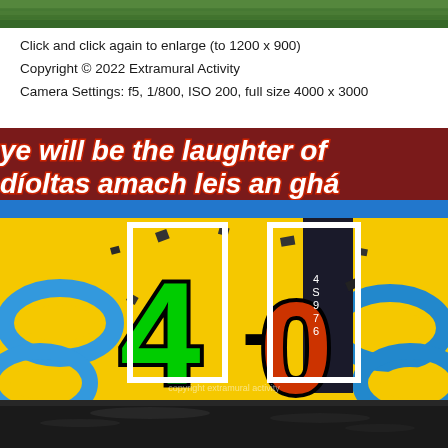[Figure (photo): Top strip of a photograph showing green grass/foliage.]
Click and click again to enlarge (to 1200 x 900)
Copyright © 2022 Extramural Activity
Camera Settings: f5, 1/800, ISO 200, full size 4000 x 3000
[Figure (photo): A street mural on a wall showing text in English and Irish: 'ye will be the laughter of / díoltas amach leis an ghá' with a large '4-0' in green and red/orange on a yellow background with blue chain links.]